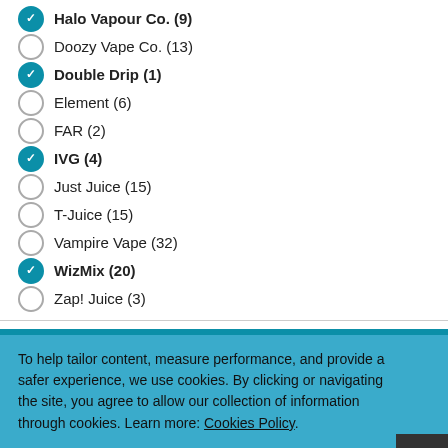Halo Vapour Co. (9) [checked]
Doozy Vape Co. (13)
Double Drip (1) [checked, bold]
Element (6)
FAR (2)
IVG (4) [checked, bold]
Just Juice (15)
T-Juice (15)
Vampire Vape (32)
WizMix (20) [checked, bold]
Zap! Juice (3)
E-LIQUID SIZE
10ml (34) [checked, bold]
To help tailor content, measure performance, and provide a safer experience, we use cookies. By clicking or navigating the site, you agree to allow our collection of information through cookies. Learn more: Cookies Policy.